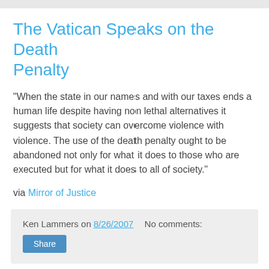The Vatican Speaks on the Death Penalty
"When the state in our names and with our taxes ends a human life despite having non lethal alternatives it suggests that society can overcome violence with violence. The use of the death penalty ought to be abandoned not only for what it does to those who are executed but for what it does to all of society."
via Mirror of Justice
Ken Lammers on 8/26/2007   No comments:
California: 82 minutes = 4 days